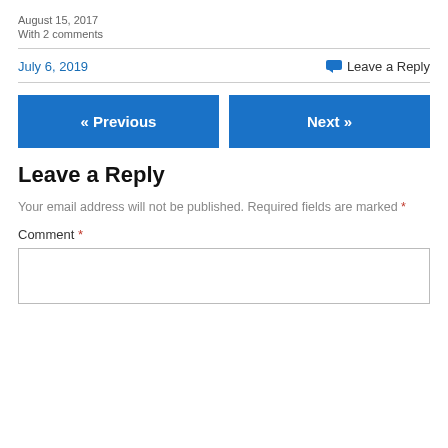August 15, 2017
With 2 comments
July 6, 2019
Leave a Reply
« Previous
Next »
Leave a Reply
Your email address will not be published. Required fields are marked *
Comment *